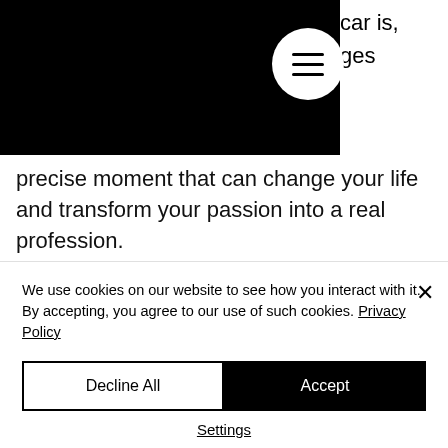car is, ges
precise moment that can change your life and transform your passion into a real profession.
It was a step, though, that didn't scare Carlotta, as her determination and talent quickly proved that she could immediately had her chances to play with the big names of the Italian motor
We use cookies on our website to see how you interact with it. By accepting, you agree to our use of such cookies. Privacy Policy
Decline All
Accept
Settings